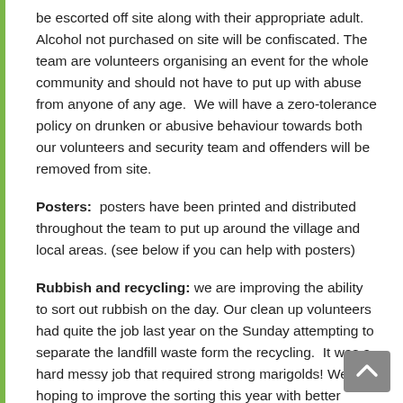be escorted off site along with their appropriate adult. Alcohol not purchased on site will be confiscated. The team are volunteers organising an event for the whole community and should not have to put up with abuse from anyone of any age.  We will have a zero-tolerance policy on drunken or abusive behaviour towards both our volunteers and security team and offenders will be removed from site.
Posters:  posters have been printed and distributed throughout the team to put up around the village and local areas. (see below if you can help with posters)
Rubbish and recycling: we are improving the ability to sort out rubbish on the day. Our clean up volunteers had quite the job last year on the Sunday attempting to separate the landfill waste form the recycling.  It was a hard messy job that required strong marigolds! We're hoping to improve the sorting this year with better